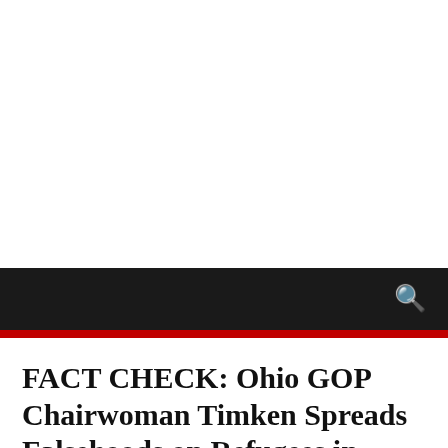FACT CHECK: Ohio GOP Chairwoman Timken Spreads Falsehoods on Refugees in Letter to Party Members